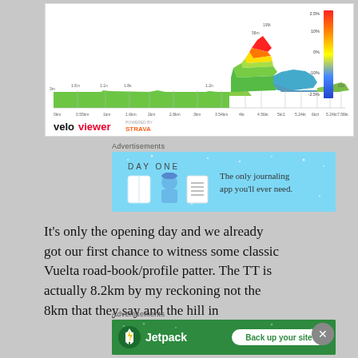[Figure (continuous-plot): VeloViewer elevation/grade profile chart for a cycling stage with colored gradient bands (green=flat, yellow/orange/red=climb). Shows distance markers along x-axis and elevation markers with distance labels. A gradient color legend on the right shows 2.5%, 10%, 0%, -10%, -2.5%. VeloViewer logo and POWERED BY STRAVA in bottom-left.]
Advertisements
[Figure (illustration): DAY ONE app advertisement banner on light blue background with icons: a book, a person with hat, a document. Text reads: The only journaling app you'll ever need.]
It's only the opening day and we already got our first chance to witness some classic Vuelta road-book/profile patter. The TT is actually 8.2km by my reckoning not the 8km that they say and the hill in
Advertisements
[Figure (illustration): Jetpack advertisement banner on green background. Jetpack logo (lightning bolt circle icon) on left with text 'Jetpack'. White button on right reads 'Back up your site'.]